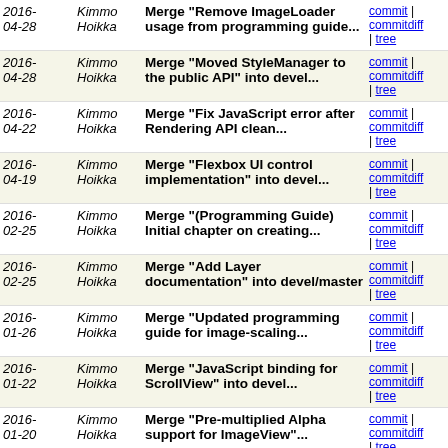| Date | Author | Commit message | Links |
| --- | --- | --- | --- |
| 2016-04-28 | Kimmo Hoikka | Merge "Remove ImageLoader usage from programming guide... | commit | commitdiff | tree |
| 2016-04-28 | Kimmo Hoikka | Merge "Moved StyleManager to the public API" into devel... | commit | commitdiff | tree |
| 2016-04-22 | Kimmo Hoikka | Merge "Fix JavaScript error after Rendering API clean... | commit | commitdiff | tree |
| 2016-04-19 | Kimmo Hoikka | Merge "Flexbox UI control implementation" into devel... | commit | commitdiff | tree |
| 2016-02-25 | Kimmo Hoikka | Merge "(Programming Guide) Initial chapter on creating... | commit | commitdiff | tree |
| 2016-02-25 | Kimmo Hoikka | Merge "Add Layer documentation" into devel/master | commit | commitdiff | tree |
| 2016-01-26 | Kimmo Hoikka | Merge "Updated programming guide for image-scaling... | commit | commitdiff | tree |
| 2016-01-22 | Kimmo Hoikka | Merge "JavaScript binding for ScrollView" into devel... | commit | commitdiff | tree |
| 2016-01-20 | Kimmo Hoikka | Merge "Pre-multiplied Alpha support for ImageView"... | commit | commitdiff | tree |
| 2016-01-20 | Kimmo Hoikka | Merge "PixelArea support for ImageView" into devel... | commit | commitdiff | tree |
| 2016-01-19 | Kimmo Hoikka | Merge "JavaScript binding for ItemView" into devel... | commit | commitdiff | tree |
| 2016-01-05 | Kimmo Hoikka | Merge changes I000b9684,I1a6a0f46 into devel/master | commit | commitdiff | tree |
| 2016-01-05 | Kimmo Hoikka | Merge "(Control) Re-added Background enums" into devel... | commit | commitdiff | tree |
| 2015- | Kimmo Hoikka | Merge "Debug renderer" into | commit | commitdiff |